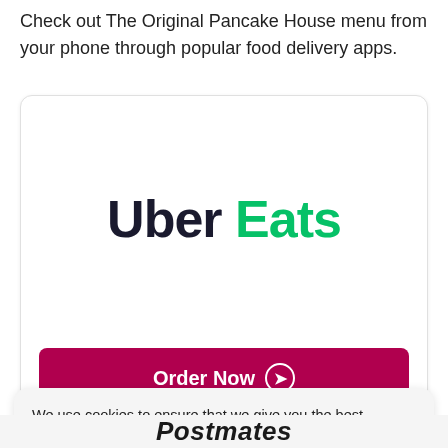Check out The Original Pancake House menu from your phone through popular food delivery apps.
[Figure (logo): Uber Eats logo with 'Uber' in dark navy and 'Eats' in green, displayed inside a white card with a dark red 'Order Now' button at the bottom]
We use cookies to ensure that we give you the best experience on our website.
[Figure (logo): Postmates logo partially visible at the bottom, bold italic dark text on light background]